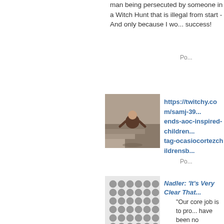man being persecuted by someone in a Witch Hunt that is illegal from start - And only because I wo... success!
Po...
[Figure (photo): Thumbnail image of a person crouching near stairs]
https://twitchy.com/samj-39... ends-aoc-inspired-children... tag-ocasiocortezchildrensb...
Po...
[Figure (illustration): Grid of grey circular dots arranged in a 6x6 pattern]
Nadler: ‘It’s Very Clear That...
“Our core job is to pro... have been no investig... to the rule of law from... personal enrichment w... use his power for pers... the Emoluments Claus... seen abuses of power... to the Mueller investig...